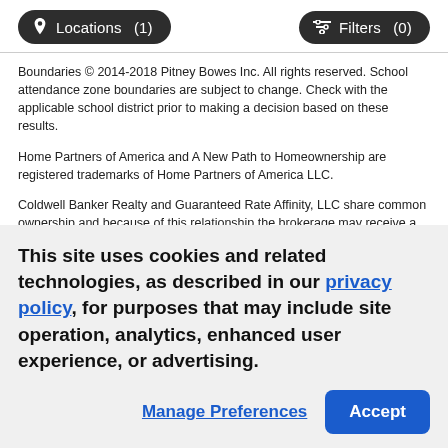[Figure (screenshot): Top navigation bar with 'Locations (1)' and 'Filters (0)' dark pill buttons]
Boundaries © 2014-2018 Pitney Bowes Inc. All rights reserved. School attendance zone boundaries are subject to change. Check with the applicable school district prior to making a decision based on these results.
Home Partners of America and A New Path to Homeownership are registered trademarks of Home Partners of America LLC.
Coldwell Banker Realty and Guaranteed Rate Affinity, LLC share common ownership and because of this relationship the brokerage may receive a financial or other benefit. You are not required to use Guaranteed Rate Affinity, LLC as a condition of purchase or sale of any real estate. Operating in the state of New York as GR Affinity, LLC in lieu of the legal name Guaranteed Rate Affinity, LLC.
Real estate agents affiliated with Coldwell Banker are independent contractor sales associates and are not employees of Coldwell Banker...
This site uses cookies and related technologies, as described in our privacy policy, for purposes that may include site operation, analytics, enhanced user experience, or advertising.
Manage Preferences
Accept